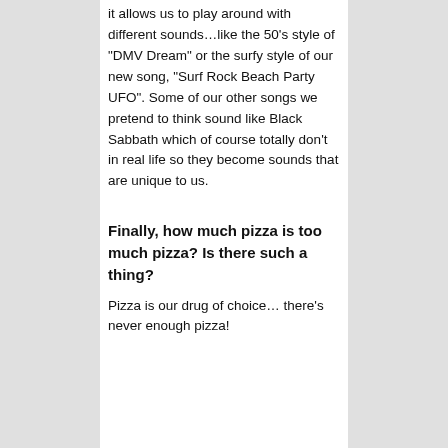it allows us to play around with different sounds…like the 50's style of "DMV Dream" or the surfy style of our new song, "Surf Rock Beach Party UFO". Some of our other songs we pretend to think sound like Black Sabbath which of course totally don't in real life so they become sounds that are unique to us.
Finally, how much pizza is too much pizza? Is there such a thing?
Pizza is our drug of choice… there's never enough pizza!